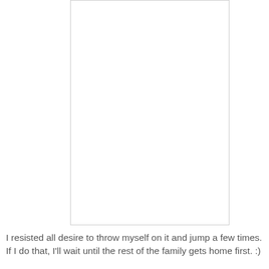[Figure (other): A large white rectangular box with a light gray border, occupying the upper portion of the page.]
I resisted all desire to throw myself on it and jump a few times. If I do that, I'll wait until the rest of the family gets home first. :)